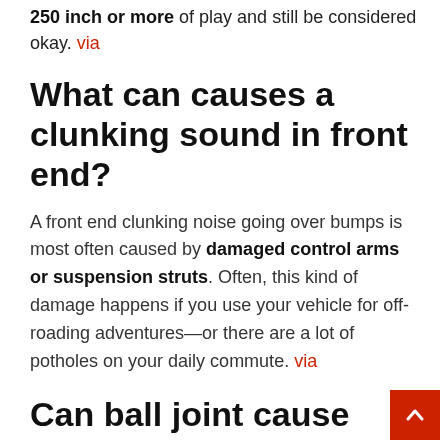250 inch or more of play and still be considered okay. via
What can causes a clunking sound in front end?
A front end clunking noise going over bumps is most often caused by damaged control arms or suspension struts. Often, this kind of damage happens if you use your vehicle for off-roading adventures—or there are a lot of potholes on your daily commute. via
Can ball joint cause